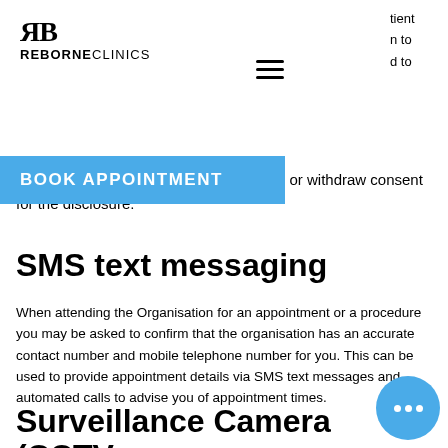[Figure (logo): Reborne Clinics logo with RB monogram and text REBORNECLINICS]
[Figure (other): Hamburger menu icon (three horizontal lines)]
ient
n to
d to
[Figure (other): Blue BOOK APPOINTMENT button/banner]
circumstances, the patient cannot refuse or withdraw consent for the disclosure.
SMS text messaging
When attending the Organisation for an appointment or a procedure you may be asked to confirm that the organisation has an accurate contact number and mobile telephone number for you. This can be used to provide appointment details via SMS text messages and automated calls to advise you of appointment times.
Surveillance Camera
(CCTV
[Figure (other): Blue circular chat/messenger button with three dots]